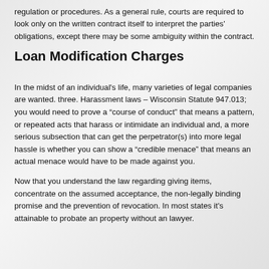regulation or procedures. As a general rule, courts are required to look only on the written contract itself to interpret the parties' obligations, except there may be some ambiguity within the contract.
Loan Modification Charges
In the midst of an individual's life, many varieties of legal companies are wanted. three. Harassment laws – Wisconsin Statute 947.013; you would need to prove a “course of conduct” that means a pattern, or repeated acts that harass or intimidate an individual and, a more serious subsection that can get the perpetrator(s) into more legal hassle is whether you can show a “credible menace” that means an actual menace would have to be made against you.
Now that you understand the law regarding giving items, concentrate on the assumed acceptance, the non-legally binding promise and the prevention of revocation. In most states it's attainable to probate an property without an lawyer.